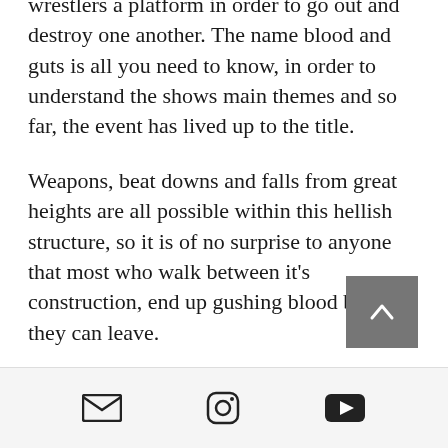…age magazine designed to give wrestlers a platform in order to go out and destroy one another. The name blood and guts is all you need to know, in order to understand the shows main themes and so far, the event has lived up to the title.
Weapons, beat downs and falls from great heights are all possible within this hellish structure, so it is of no surprise to anyone that most who walk between it's construction, end up gushing blood before they can leave.
In 1988 WCW had started its first real push towards the evolution of the…
[email icon] [instagram icon] [youtube icon]